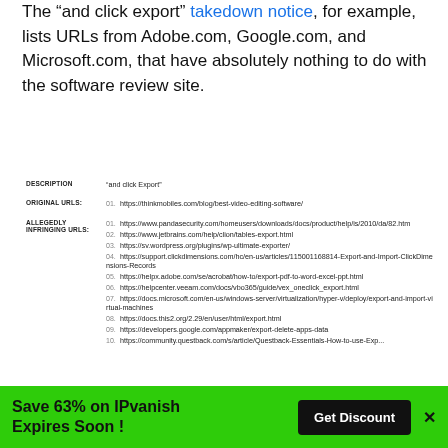The “and click export” takedown notice, for example, lists URLs from Adobe.com, Google.com, and Microsoft.com, that have absolutely nothing to do with the software review site.
| DESCRIPTION | ORIGINAL URLS: | ALLEGEDLY INFRINGING URLS: |
| --- | --- | --- |
| "and click Export" |  |  |
|  | 01. https://thinkmobiles.com/blog/best-video-editing-software/ |  |
|  |  | 01. https://www.pandasecurity.com/homeusers/downloads/docs/product/help/is/2010/da/82.htm |
|  |  | 02. https://www.jetbrains.com/help/clion/tables-export.html |
|  |  | 03. https://sv.wordpress.org/plugins/wp-ultimate-exporter/ |
|  |  | 04. https://support.clickdimensions.com/hc/en-us/articles/115001168814-Export-and-Import-ClickDimensions-Records |
|  |  | 05. https://helpx.adobe.com/se/acrobat/how-to/export-pdf-to-word-excel-ppt.html |
|  |  | 06. https://helpcenter.veeam.com/docs/vbo365/guide/vex_oneclick_export.html |
|  |  | 07. https://docs.microsoft.com/en-us/windows-server/virtualization/hyper-v/deploy/export-and-import-virtual-machines |
|  |  | 08. https://docs.this2.org/2.29/en/user/html/export.html |
|  |  | 09. https://developers.google.com/appmaker/export-delete-apps-data |
|  |  | 10. https://community.questback.com/s/article/Questback-Essentials-How-to-use-Exp... |
Save 63% on IPvanish Expires Soon !
Get Discount